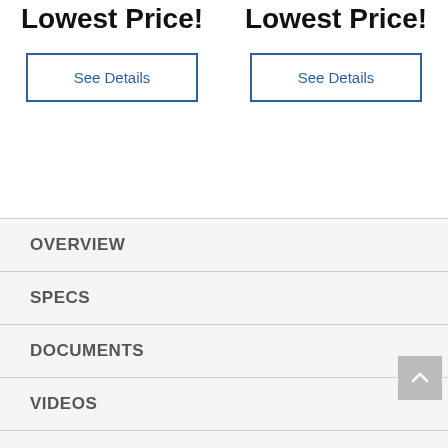Lowest Price!
Lowest Price!
See Details
See Details
OVERVIEW
SPECS
DOCUMENTS
VIDEOS
DELIVERY
REVIEWS (1)